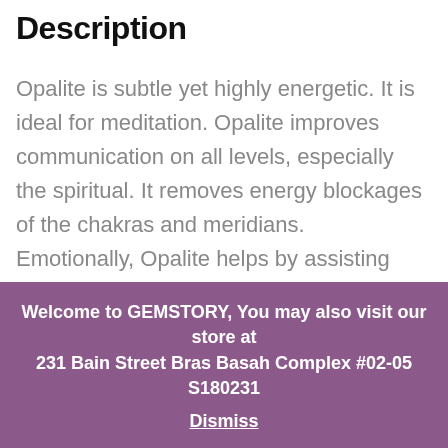Description
Opalite is subtle yet highly energetic. It is ideal for meditation. Opalite improves communication on all levels, especially the spiritual. It removes energy blockages of the chakras and meridians. Emotionally, Opalite helps by assisting during transitions of all kinds. It engenders persistence and gives us strength in verbalising our hidden feelings. It can also help us to be successful in
Welcome to GEMSTORY, You may also visit our store at 231 Bain Street Bras Basah Complex #02-05 S180231 Dismiss